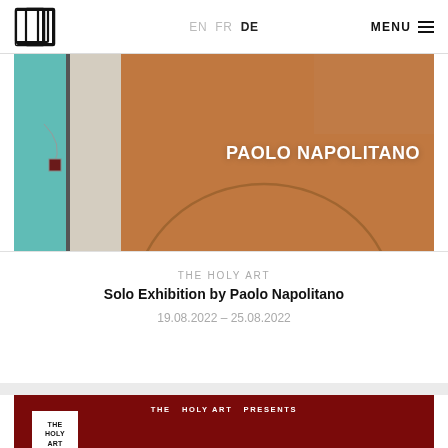EN  FR  DE  MENU
[Figure (photo): Exhibition banner image for Paolo Napolitano showing an artwork with teal, neutral and brown/orange tones, with text PAOLO NAPOLITANO overlaid in white bold letters]
THE HOLY ART
Solo Exhibition by Paolo Napolitano
19.08.2022 – 25.08.2022
[Figure (photo): Dark red/maroon exhibition banner for The Holy Art Presents, showing a figure illustration and partial text RESMIRË VILA at the bottom]